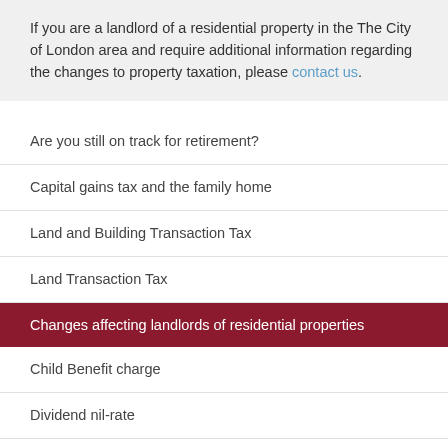If you are a landlord of a residential property in the The City of London area and require additional information regarding the changes to property taxation, please contact us.
Are you still on track for retirement?
Capital gains tax and the family home
Land and Building Transaction Tax
Land Transaction Tax
Changes affecting landlords of residential properties
Child Benefit charge
Dividend nil-rate
Does your estate planning pass the test?
Furnished holiday lettings